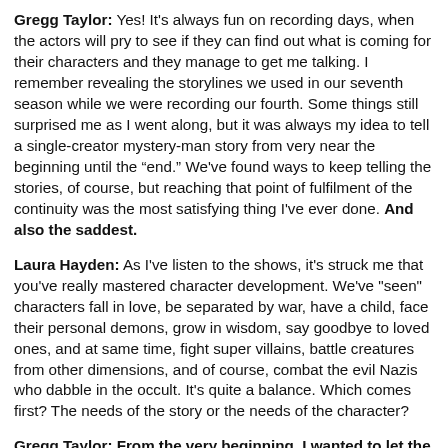Gregg Taylor: Yes! It's always fun on recording days, when the actors will pry to see if they can find out what is coming for their characters and they manage to get me talking. I remember revealing the storylines we used in our seventh season while we were recording our fourth. Some things still surprised me as I went along, but it was always my idea to tell a single-creator mystery-man story from very near the beginning until the “end.” We've found ways to keep telling the stories, of course, but reaching that point of fulfilment of the continuity was the most satisfying thing I've ever done. And also the saddest.
Laura Hayden: As I've listen to the shows, it's struck me that you've really mastered character development. We've "seen" characters fall in love, be separated by war, have a child, face their personal demons, grow in wisdom, say goodbye to loved ones, and at same time, fight super villains, battle creatures from other dimensions, and of course, combat the evil Nazis who dabble in the occult. It's quite a balance. Which comes first? The needs of the story or the needs of the character?
Gregg Taylor: From the very beginning, I wanted to let the characters and their relationships grow, but always